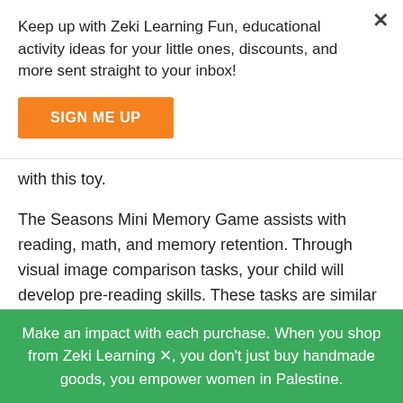Keep up with Zeki Learning Fun, educational activity ideas for your little ones, discounts, and more sent straight to your inbox!
SIGN ME UP
with this toy.
The Seasons Mini Memory Game assists with reading, math, and memory retention. Through visual image comparison tasks, your child will develop pre-reading skills. These tasks are similar to the processes of comparing the shapes and sounds of each letter. Math skills build through counting, sorting and measuring, and comparing and contrasting. The game is a fantastic tool to
Make an impact with each purchase. When you shop from Zeki Learning, you don't just buy handmade goods, you empower women in Palestine.